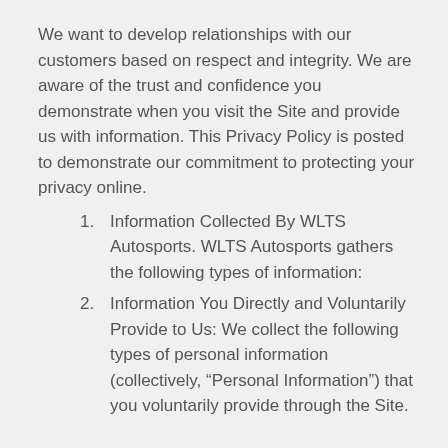We want to develop relationships with our customers based on respect and integrity. We are aware of the trust and confidence you demonstrate when you visit the Site and provide us with information. This Privacy Policy is posted to demonstrate our commitment to protecting your privacy online.
Information Collected By WLTS Autosports. WLTS Autosports gathers the following types of information:
Information You Directly and Voluntarily Provide to Us: We collect the following types of personal information (collectively, “Personal Information”) that you voluntarily provide through the Site.
Personal Identifiers. A “Personal Identifier” is information that can be used to identify and/or contact a natural person and includes name, postal address, telephone number,